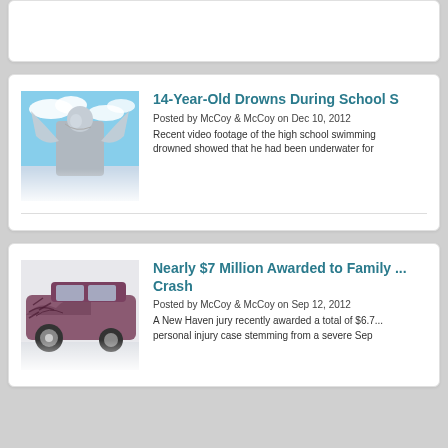[Figure (photo): Partial top card, cropped, white background]
14-Year-Old Drowns During School S
Posted by McCoy & McCoy on Dec 10, 2012
Recent video footage of the high school swimming... drowned showed that he had been underwater for
[Figure (photo): Angel statue photo with blue sky background]
Nearly $7 Million Awarded to Family ... Crash
Posted by McCoy & McCoy on Sep 12, 2012
A New Haven jury recently awarded a total of $6.7... personal injury case stemming from a severe Sep
[Figure (photo): Crashed purple/maroon car photo]